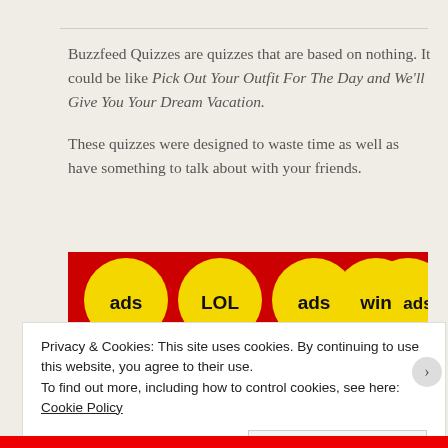Buzzfeed Quizzes are quizzes that are based on nothing. It could be like Pick Out Your Outfit For The Day and We'll Give You Your Dream Vacation.

These quizzes were designed to waste time as well as have something to talk about with your friends.
[Figure (screenshot): BuzzFeed website screenshot showing red background with yellow circles labeled 'ads', 'LOL', 'ads', 'win', 'ads' and partial BuzzFeed logo text at the bottom]
Privacy & Cookies: This site uses cookies. By continuing to use this website, you agree to their use.
To find out more, including how to control cookies, see here: Cookie Policy

Close and accept